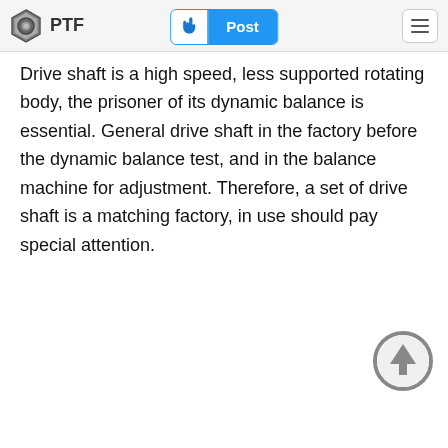PTF | Post
Drive shaft is a high speed, less supported rotating body, the prisoner of its dynamic balance is essential. General drive shaft in the factory before the dynamic balance test, and in the balance machine for adjustment. Therefore, a set of drive shaft is a matching factory, in use should pay special attention.
[Figure (other): Scroll-to-top circular button with upward arrow icon, gray outline style]